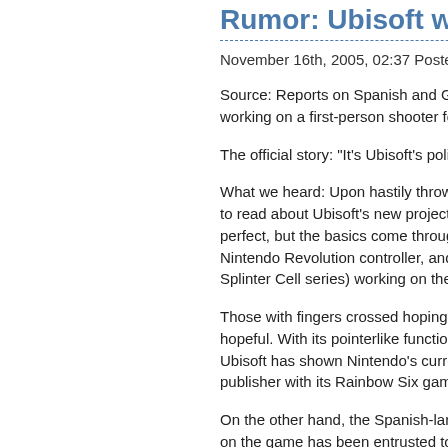Rumor: Ubisoft working on
November 16th, 2005, 02:37 Posted By: wragg
Source: Reports on Spanish and German gam working on a first-person shooter for the Revo
The official story: "It's Ubisoft's policy to not co
What we heard: Upon hastily throwing these si to read about Ubisoft's new project and "the jui perfect, but the basics come through loud and Nintendo Revolution controller, and the compa Splinter Cell series) working on the project.
Those with fingers crossed hoping that this one hopeful. With its pointerlike functionality, the Re Ubisoft has shown Nintendo's current-gen Gan publisher with its Rainbow Six games.
On the other hand, the Spanish-language site on the game has been entrusted to "Ubisoft Ca doesn't actually make games. Ubisoft Montrea studios north of the border. Ubisoft Canada do local publishing, distribution, marketing, and ot such details could easily have been lost in tran